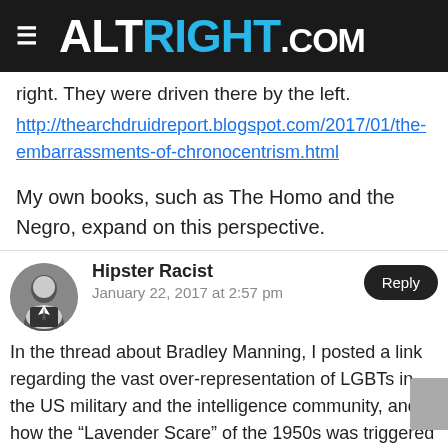ALTRIGHT.COM
right. They were driven there by the left.
http://thearchdruidreport.blogspot.com/2017/01/the-embarrassments-of-chronocentrism.html
My own books, such as The Homo and the Negro, expand on this perspective.
Hipster Racist
January 22, 2017 at 2:57 pm
In the thread about Bradley Manning, I posted a link regarding the vast over-representation of LGBTs in the US military and the intelligence community, and how the "Lavender Scare" of the 1950s was triggered by the discovery of that over-representation by the Soviets...